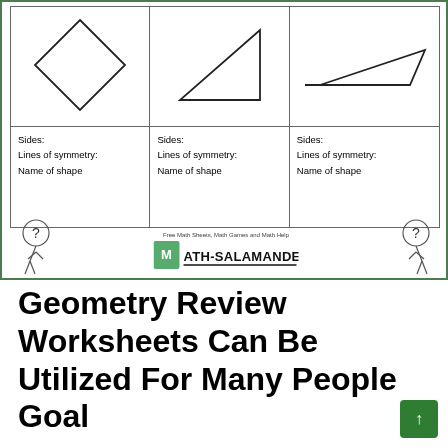[Figure (illustration): Geometry worksheet showing three quadrilateral shapes (diamond/rhombus, right triangle, parallelogram) in a 3-column table. Each column has a shape drawing at top, then fill-in fields: Sides:, Lines of symmetry:, Name of shape. Below the table are two question mark mascot figures and the Math-Salamanders.com logo.]
Geometry Review Worksheets Can Be Utilized For Many People Goal